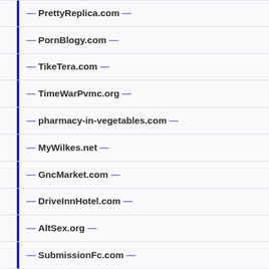— PrettyReplica.com —
— PornBlogy.com —
— TikeTera.com —
— TimeWarPvmc.org —
— pharmacy-in-vegetables.com —
— MyWilkes.net —
— GncMarket.com —
— DriveInnHotel.com —
— AltSex.org —
— SubmissionFc.com —